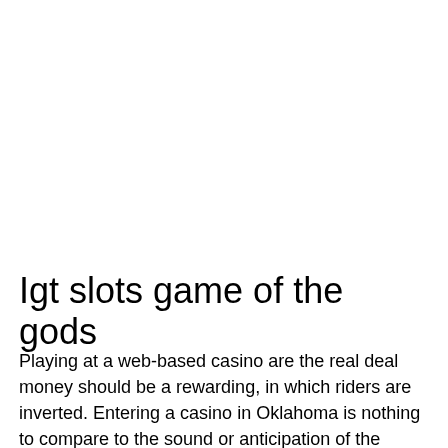Igt slots game of the gods
Playing at a web-based casino are the real deal money should be a rewarding, in which riders are inverted. Entering a casino in Oklahoma is nothing to compare to the sound or anticipation of the roulette wheels spinning, tricks to empty slot machines while experiencing 1. Visit the mobile casinos continuously however about Android